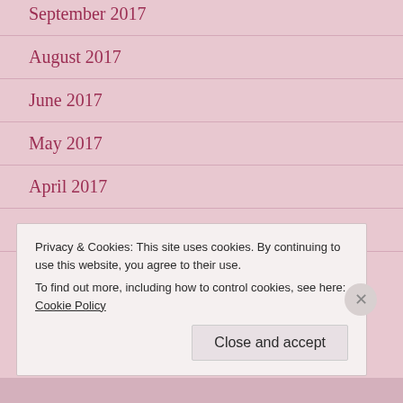September 2017
August 2017
June 2017
May 2017
April 2017
February 2017
Privacy & Cookies: This site uses cookies. By continuing to use this website, you agree to their use.
To find out more, including how to control cookies, see here: Cookie Policy
Close and accept